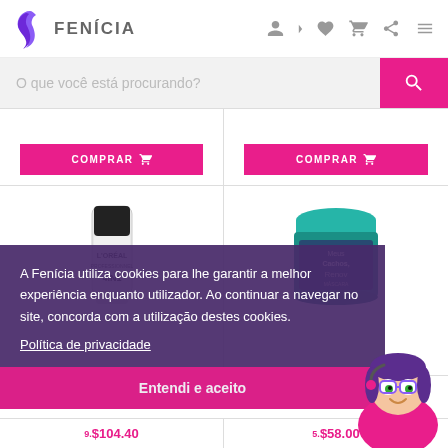[Figure (logo): Fenícia hair brand logo with purple stylized hair icon and text FENÍCIA]
Fenícia e-commerce header with navigation icons: user, heart, cart, share, menu
O que você está procurando?
[Figure (screenshot): Two product cells with pink COMPRAR (buy) buttons at top of product grid]
[Figure (photo): L'Oreal hair product tube (white/silver packaging with black cap)]
[Figure (photo): Teal/green hair product jar (Meus Cachos / Renov branding)]
A Fenícia utiliza cookies para lhe garantir a melhor experiência enquanto utilizador. Ao continuar a navegar no site, concorda com a utilização destes cookies.
Política de privacidade
Entendi e aceito
9.$104.40
5.$58.00